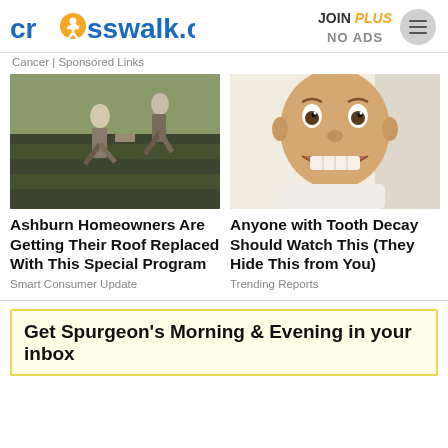crosswalk.com | JOIN PLUS NO ADS
Cancer | Sponsored Links
[Figure (photo): Workers installing shingles on a roof]
Ashburn Homeowners Are Getting Their Roof Replaced With This Special Program
Smart Consumer Update
[Figure (photo): Man making a wide-eyed grinning face, close-up selfie]
Anyone with Tooth Decay Should Watch This (They Hide This from You)
Trending Reports
Get Spurgeon's Morning & Evening in your inbox